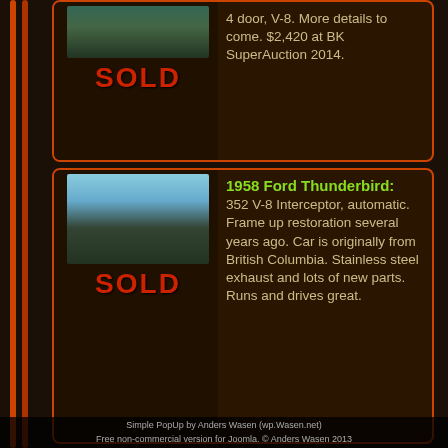[Figure (photo): Classic car photo with SOLD overlay, top card]
4 door, V-8. More details to come. $2,420 at BK SuperAuction 2014.
[Figure (photo): 1958 Ford Thunderbird photo with SOLD overlay]
1958 Ford Thunderbird: 352 V-8 Interceptor, automatic. Frame up restoration several years ago. Car is originally from British Columbia. Stainless steel exhaust and lots of new parts. Runs and drives great.
Simple PopUp by Anders Wasen (wp.Wasen.net)
Free non-commercial version for Joomla. © Anders Wasen 2013